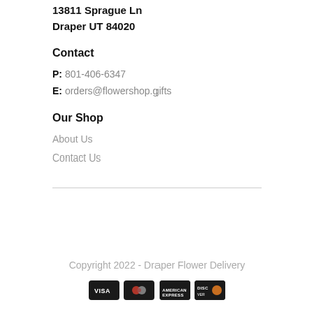13811 Sprague Ln
Draper UT 84020
Contact
P: 801-406-6347
E: orders@flowershop.gifts
Our Shop
About Us
Contact Us
Copyright 2022 - Draper Flower Delivery
[Figure (other): Payment method icons: VISA, Mastercard, American Express, Discover]